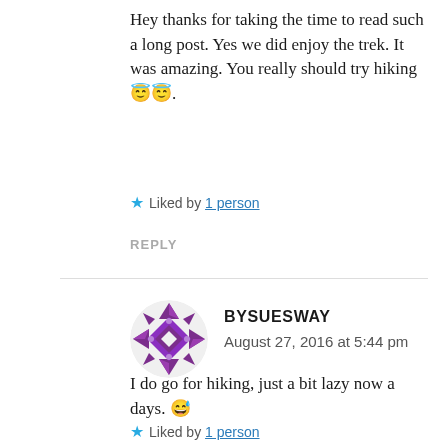Hey thanks for taking the time to read such a long post. Yes we did enjoy the trek. It was amazing. You really should try hiking 😇😇.
★ Liked by 1 person
REPLY
[Figure (illustration): Circular avatar with purple geometric diamond/quilt pattern on white background]
BYSUESWAY
August 27, 2016 at 5:44 pm
I do go for hiking, just a bit lazy now a days. 😅
★ Liked by 1 person